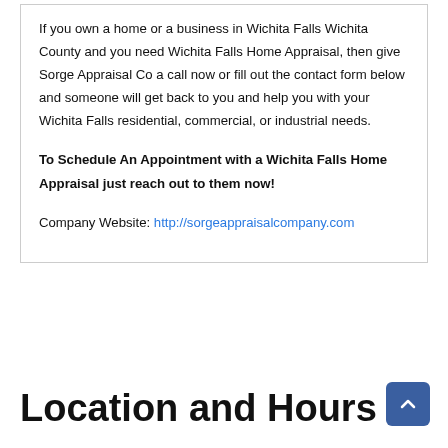If you own a home or a business in Wichita Falls Wichita County and you need Wichita Falls Home Appraisal, then give Sorge Appraisal Co a call now or fill out the contact form below and someone will get back to you and help you with your Wichita Falls residential, commercial, or industrial needs.
To Schedule An Appointment with a Wichita Falls Home Appraisal just reach out to them now!
Company Website: http://sorgeappraisalcompany.com
Location and Hours